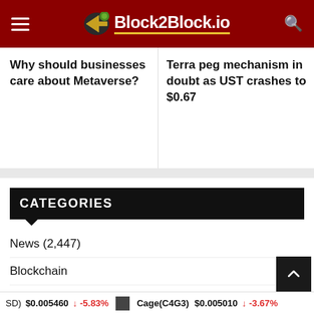Block2Block.io
Why should businesses care about Metaverse?
Terra peg mechanism in doubt as UST crashes to $0.67
CATEGORIES
News (2,447)
Blockchain (506)
Bitcoin (332)
Guide & Analytics (309)
Ethereum (297)
Altcoin (2...)
$0.005460 ↓ -5.83%  Cage(C4G3) $0.005010 ↓ -3.67%